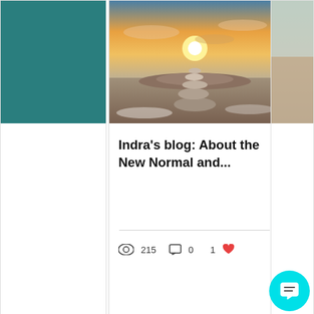[Figure (photo): Stacked rocks cairn at sunset over a rocky desert landscape with orange sky]
Indra’s blog: About the New Normal and…
215 views  0 comments  1 like
[Figure (infographic): Carousel pagination dots: one orange filled dot followed by two grey dots]
Contact.
Monday - Friday
9.00 AM – 5.00 PM